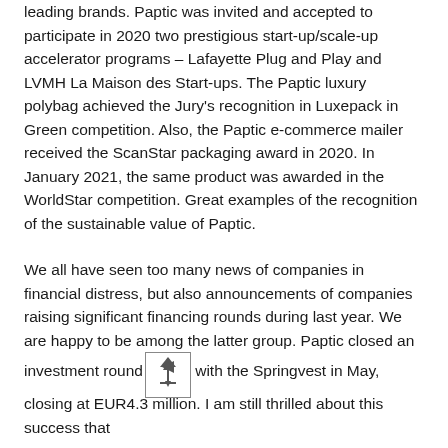leading brands. Paptic was invited and accepted to participate in 2020 two prestigious start-up/scale-up accelerator programs – Lafayette Plug and Play and LVMH La Maison des Start-ups. The Paptic luxury polybag achieved the Jury's recognition in Luxepack in Green competition. Also, the Paptic e-commerce mailer received the ScanStar packaging award in 2020. In January 2021, the same product was awarded in the WorldStar competition. Great examples of the recognition of the sustainable value of Paptic.
We all have seen too many news of companies in financial distress, but also announcements of companies raising significant financing rounds during last year. We are happy to be among the latter group. Paptic closed an investment round with the Springvest in May, closing at EUR4.3 million. I am still thrilled about this success that